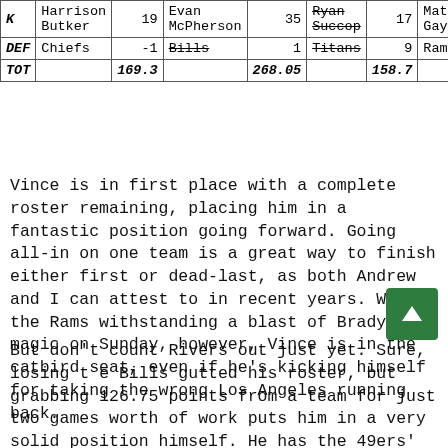|  |  |  |  |  |  |  |  |  |
| --- | --- | --- | --- | --- | --- | --- | --- | --- |
| K | Harrison Butker | 19 | Evan McPherson | 35 | Ryan Succop (strikethrough) | 17 | Matt Gay |  |
| DEF | Chiefs | -1 | Bills (strikethrough) |  | 1 | Titans (strikethrough) | 9 | Rams |
| TOT |  | 169.3 |  | 268.05 |  | 158.7 |  |  |
Vince is in first place with a complete roster remaining, placing him in a fantastic position going forward. Going all-in on one team is a great way to finish either first or dead-last, as both Andrew and I can attest to in recent years. With the Rams withstanding a blast of Brady magic on Sunday, however, Vince is in the catbird seat, even if he's kicking himself for taking the wrong Los Angeles running back.
But don't count Rivers out just yet. Sure, losing the Bills gutted his roster, but grabbing 126.75 points from a team for just two games worth of work puts him in a very solid position himself. He has the 49ers' complete running game remaining, as well